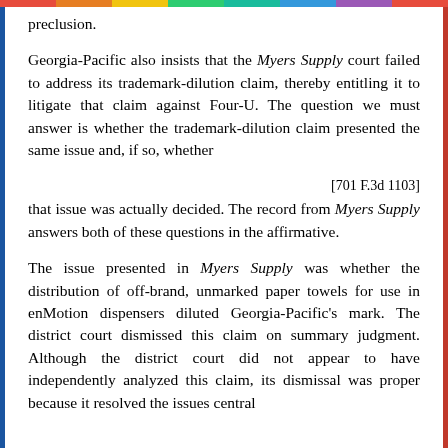preclusion.
Georgia-Pacific also insists that the Myers Supply court failed to address its trademark-dilution claim, thereby entitling it to litigate that claim against Four-U. The question we must answer is whether the trademark-dilution claim presented the same issue and, if so, whether
[701 F.3d 1103]
that issue was actually decided. The record from Myers Supply answers both of these questions in the affirmative.
The issue presented in Myers Supply was whether the distribution of off-brand, unmarked paper towels for use in enMotion dispensers diluted Georgia-Pacific's mark. The district court dismissed this claim on summary judgment. Although the district court did not appear to have independently analyzed this claim, its dismissal was proper because it resolved the issues central